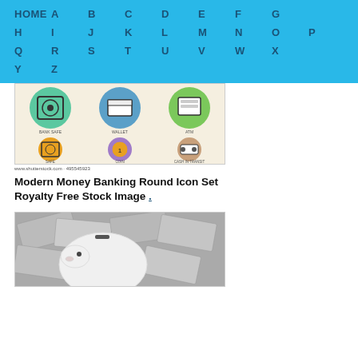HOME A B C D E F G H I J K L M N O P Q R S T U V W X Y Z
[Figure (illustration): Modern Money Banking Round Icon Set showing colorful circular icons including bank safe, wallet, ATM, coin, and cash in transit van on beige background. Shutterstock watermark visible.]
www.shutterstock.com · 495545923
Modern Money Banking Round Icon Set Royalty Free Stock Image
[Figure (photo): Piggy bank sitting on a pile of US dollar bills, close-up photo in black and white/grayscale.]